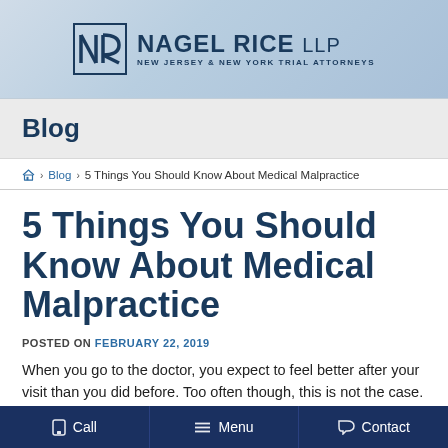NAGEL RICE LLP — NEW JERSEY & NEW YORK TRIAL ATTORNEYS
Blog
Home > Blog > 5 Things You Should Know About Medical Malpractice
5 Things You Should Know About Medical Malpractice
POSTED ON FEBRUARY 22, 2019
When you go to the doctor, you expect to feel better after your visit than you did before. Too often though, this is not the case.
Call   Menu   Contact